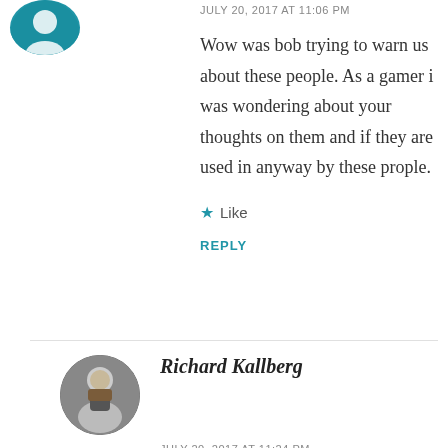[Figure (photo): Circular avatar image with blue background, partially cut off at top of page]
JULY 20, 2017 AT 11:06 PM
Wow was bob trying to warn us about these people. As a gamer i was wondering about your thoughts on them and if they are used in anyway by these prople.
★ Like
REPLY
[Figure (photo): Circular avatar photo of Richard Kallberg, man with light hair resting chin on hand]
Richard Kallberg
JULY 20, 2017 AT 11:24 PM
Good question Jon, and YES, games are